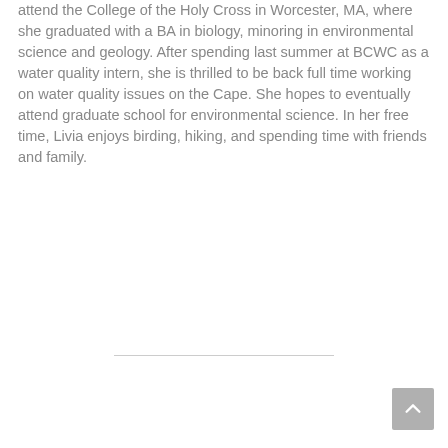attend the College of the Holy Cross in Worcester, MA, where she graduated with a BA in biology, minoring in environmental science and geology. After spending last summer at BCWC as a water quality intern, she is thrilled to be back full time working on water quality issues on the Cape. She hopes to eventually attend graduate school for environmental science. In her free time, Livia enjoys birding, hiking, and spending time with friends and family.